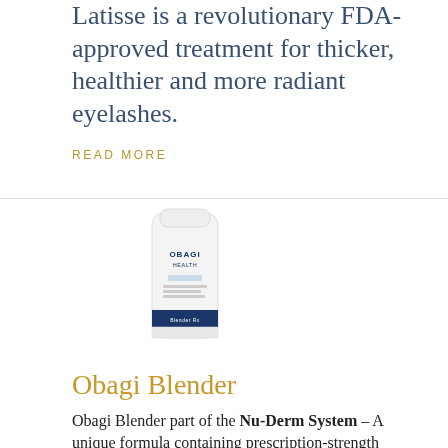Latisse is a revolutionary FDA-approved treatment for thicker, healthier and more radiant eyelashes.
READ MORE
[Figure (photo): Obagi Blender product bottle — white cylindrical container with OBAGI branding and blue band near bottom]
Obagi Blender
Obagi Blender part of the Nu-Derm System – A unique formula containing prescription-strength hydroquinone for the gradual lightening of age spots, acne spots, and other...